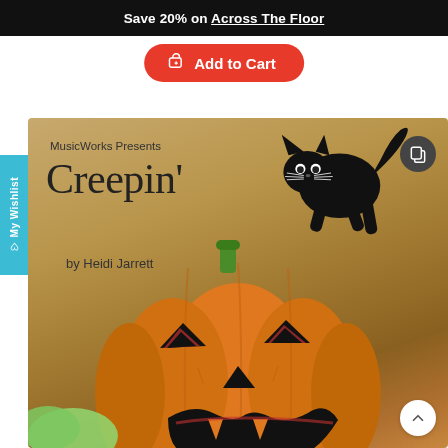Save 20% on Across The Floor
Add to Cart
[Figure (illustration): Book cover for 'Creepin' by Heidi Jarrett, published by MusicWorks. Features a tan/gold background with a black cat illustration at the top right and a large jack-o-lantern pumpkin in the lower half. A green ghost peeking from the lower left corner.]